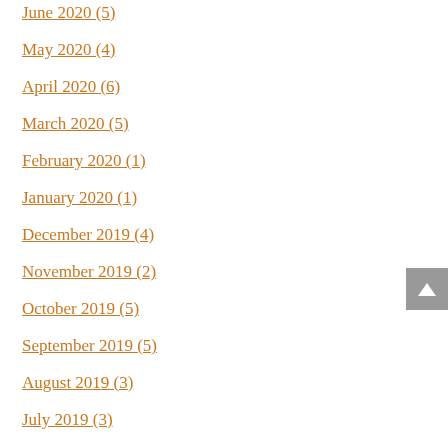June 2020 (5)
May 2020 (4)
April 2020 (6)
March 2020 (5)
February 2020 (1)
January 2020 (1)
December 2019 (4)
November 2019 (2)
October 2019 (5)
September 2019 (5)
August 2019 (3)
July 2019 (3)
June 2019 (7)